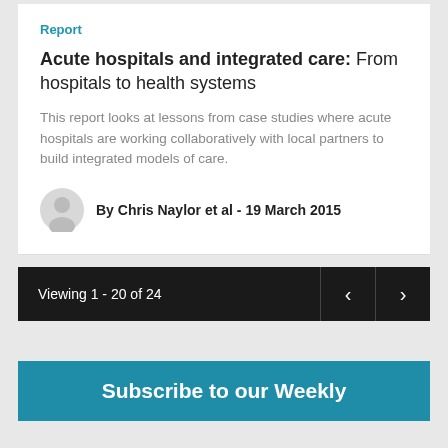Report
Acute hospitals and integrated care: From hospitals to health systems
This report looks at lessons from case studies where acute hospitals are working collaboratively with local partners to build integrated models of care.
By Chris Naylor et al - 19 March 2015
Viewing 1 - 20 of 24
Subscribe to our Weekly